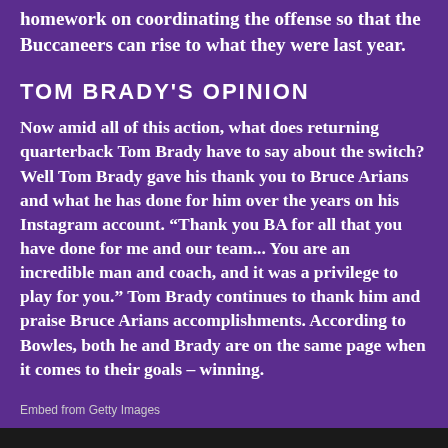homework on coordinating the offense so that the Buccaneers can rise to what they were last year.
TOM BRADY'S OPINION
Now amid all of this action, what does returning quarterback Tom Brady have to say about the switch? Well Tom Brady gave his thank you to Bruce Arians and what he has done for him over the years on his Instagram account. “Thank you BA for all that you have done for me and our team... You are an incredible man and coach, and it was a privilege to play for you.” Tom Brady continues to thank him and praise Bruce Arians accomplishments. According to Bowles, both he and Brady are on the same page when it comes to their goals – winning.
Embed from Getty Images
[Figure (photo): Dark image strip at the bottom of the page, partial photo visible]